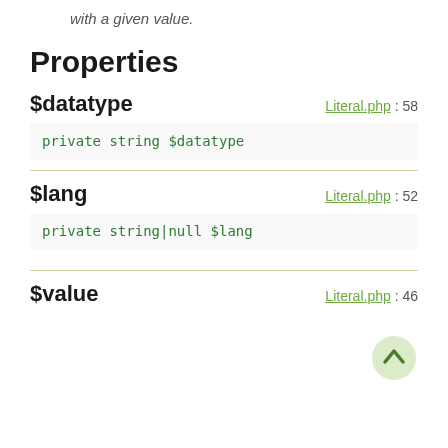with a given value.
Properties
$datatype
Literal.php : 58
private string $datatype
$lang
Literal.php : 52
private string|null $lang
$value
Literal.php : 46